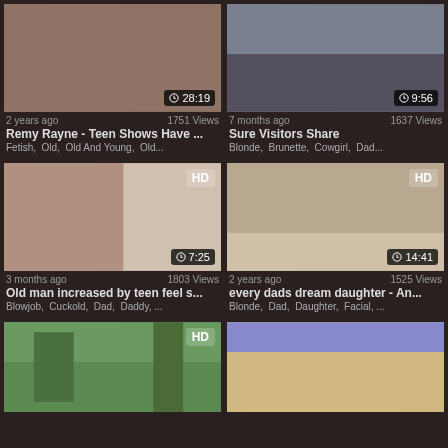[Figure (screenshot): Video thumbnail row 1 left - skin tones close up]
2 years ago   1751 Views
Remy Rayne - Teen Shows Have ...
Fetish,  Old,  Old And Young,  Old...
[Figure (screenshot): Video thumbnail row 1 right - group of women legs]
7 months ago   1637 Views
Sure Visitors Share
Blonde,  Brunette,  Cowgirl,  Dad...
[Figure (screenshot): Video thumbnail row 2 left - couple on couch HD]
3 months ago   1803 Views
Old man increased by teen feel s...
Blowjob,  Cuckold,  Dad,  Daddy, ...
[Figure (screenshot): Video thumbnail row 2 right - two people on couch HD]
2 years ago   1525 Views
every dads dream daughter - An...
Blonde,  Dad,  Daughter,  Facial, ...
[Figure (screenshot): Video thumbnail row 3 left - outdoor scene HD]
[Figure (screenshot): Video thumbnail row 3 right - cheerleader scene]